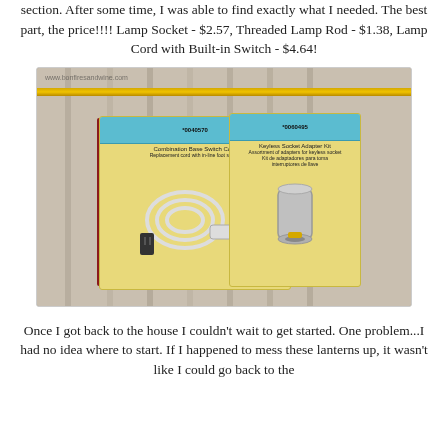section. After some time, I was able to find exactly what I needed. The best part, the price!!!! Lamp Socket - $2.57, Threaded Lamp Rod - $1.38, Lamp Cord with Built-in Switch - $4.64!
[Figure (photo): Photograph of two lamp parts in retail packaging laid on a white wooden plank surface with a gold rod. Left package is a lamp cord with built-in switch (blue label, item #0040570). Right package is a lamp socket adapter kit (blue label, item #0060495). Website watermark: www.bonfiresandwine.com]
Once I got back to the house I couldn't wait to get started. One problem...I had no idea where to start. If I happened to mess these lanterns up, it wasn't like I could go back to the